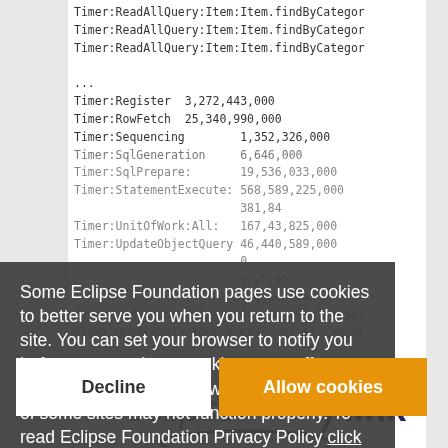Timer:ReadAllQuery:Item:Item.findByCategor
Timer:ReadAllQuery:Item:Item.findByCategor
Timer:ReadAllQuery:Item:Item.findByCategor
...
Timer:Register  3,272,443,000
Timer:RowFetch  25,340,990,000
Timer:Sequencing        1,352,326,000
Timer:SqlGeneration     6,646,000
Timer:SqlPrepare:       19,536,033,000
Timer:StatementExecute: 568,589,225,000
                                381,84
Timer:UnitOfWork:All:   167,43,825,000
Timer:UpdateObjectQuery 46,440,589,000
                                0
                        eryPrep
                        :SqlGenera
Timer:UpdateObjectQuery:Customer:SqlPrepar
Timer:UpdateObjectQuery:Customer:Statement
Some Eclipse Foundation pages use cookies to better serve you when you return to the site. You can set your browser to notify you before you receive a cookie or turn off cookies. If you do so, however, some areas of some sites may not function properly. To read Eclipse Foundation Privacy Policy click here.
[Figure (other): Cookie consent dialog with Decline and Allow cookies buttons over a semi-transparent dark overlay]
[Figure (logo): EclipseLink logo with stylized text eclipse)link and curved arc]